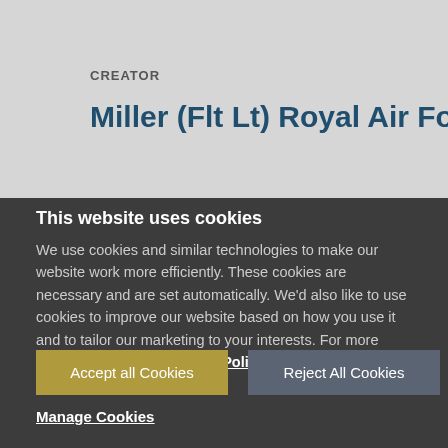CREATOR
Miller (Flt Lt) Royal Air Force official
This website uses cookies
We use cookies and similar technologies to make our website work more efficiently. These cookies are necessary and are set automatically. We'd also like to use cookies to improve our website based on how you use it and to tailor our marketing to your interests. For more information read our Cookie Policy.
Accept all Cookies
Reject All Cookies
Manage Cookies